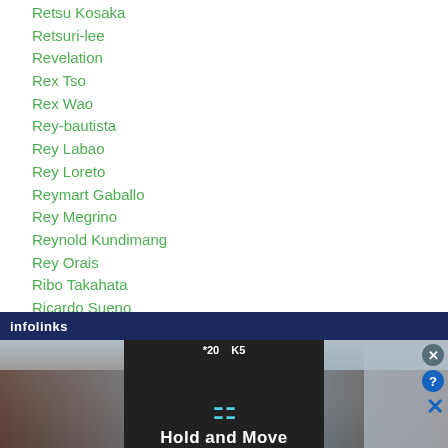Retsu Kosaka
Retsuri-lee
Revelation
Rex Tso
Rex Wao
Rey-bautista
Rey Labao
Rey Loreto
Reymart Gaballo
Rey Megrino
Reynold Kundimang
Rey Orais
Ribo Takahata
Ricardo Sueno
Richar Abril
Richard Claveras
[Figure (screenshot): Advertisement banner showing 'Hold and Move' app/game ad with infolinks label at bottom, close and help buttons visible]